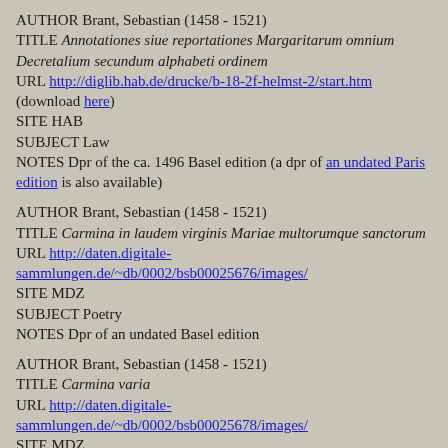AUTHOR Brant, Sebastian (1458 - 1521)
TITLE Annotationes siue reportationes Margaritarum omnium Decretalium secundum alphabeti ordinem
URL http://diglib.hab.de/drucke/b-18-2f-helmst-2/start.htm
(download here)
SITE HAB
SUBJECT Law
NOTES Dpr of the ca. 1496 Basel edition (a dpr of an undated Paris edition is also available)
AUTHOR Brant, Sebastian (1458 - 1521)
TITLE Carmina in laudem virginis Mariae multorumque sanctorum
URL http://daten.digitale-sammlungen.de/~db/0002/bsb00025676/images/
SITE MDZ
SUBJECT Poetry
NOTES Dpr of an undated Basel edition
AUTHOR Brant, Sebastian (1458 - 1521)
TITLE Carmina varia
URL http://daten.digitale-sammlungen.de/~db/0002/bsb00025678/images/
SITE MDZ
SUBJECT P...